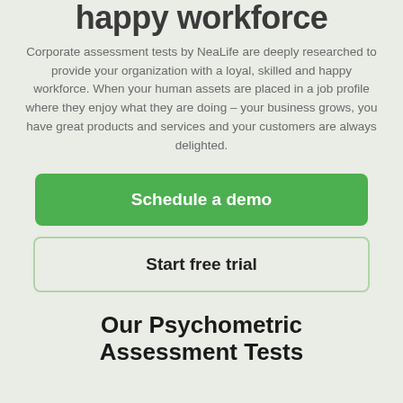happy workforce
Corporate assessment tests by NeaLife are deeply researched to provide your organization with a loyal, skilled and happy workforce. When your human assets are placed in a job profile where they enjoy what they are doing – your business grows, you have great products and services and your customers are always delighted.
Schedule a demo
Start free trial
Our Psychometric Assessment Tests